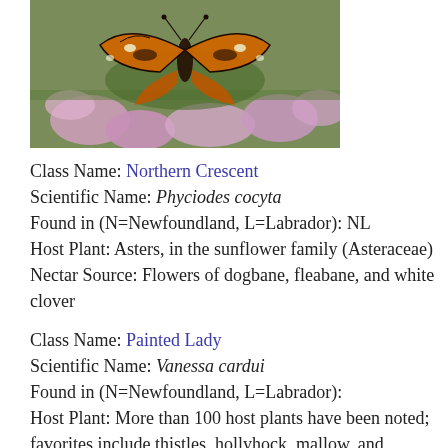[Figure (photo): A butterfly on pink flowers (Northern Crescent butterfly on heather or similar pink blooms)]
Class Name: Northern Crescent
Scientific Name: Phyciodes cocyta
Found in (N=Newfoundland, L=Labrador): NL
Host Plant: Asters, in the sunflower family (Asteraceae)
Nectar Source: Flowers of dogbane, fleabane, and white clover
Class Name: Painted Lady
Scientific Name: Vanessa cardui
Found in (N=Newfoundland, L=Labrador):
Host Plant: More than 100 host plants have been noted; favorites include thistles, hollyhock, mallow, and various legumes
Nectar Source: Prefers nectar from composites 3-6 feet high, especially thistles, aster, cosmos, blazing star,